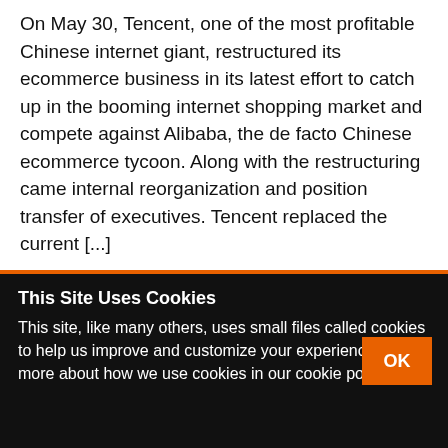On May 30, Tencent, one of the most profitable Chinese internet giant, restructured its ecommerce business in its latest effort to catch up in the booming internet shopping market and compete against Alibaba, the de facto Chinese ecommerce tycoon. Along with the restructuring came internal reorganization and position transfer of executives. Tencent replaced the current [...]
This Site Uses Cookies
This site, like many others, uses small files called cookies to help us improve and customize your experience. Learn more about how we use cookies in our cookie policy.